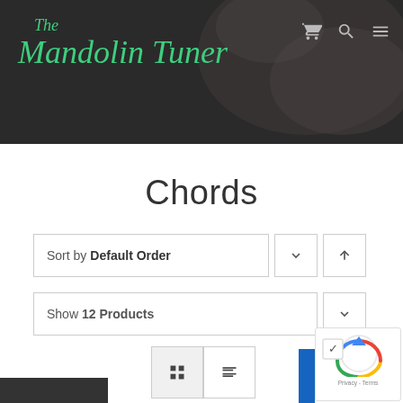The Mandolin Tuner
Chords
Sort by Default Order
Show 12 Products
[Figure (screenshot): reCAPTCHA widget with checkbox and Privacy - Terms text]